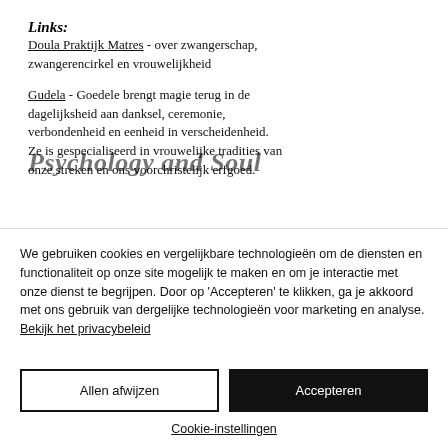Links:
Doula Praktijk Matres - over zwangerschap, zwangerencirkel en vrouwelijkheid
Gudela - Goedele brengt magie terug in de dagelijksheid aan danksel, ceremonie, verbondenheid en eenheid in verscheidenheid. Ze is gespecialiseerd in vrouwelijke tradities van onze streken en ons voorchristelijk erfgoed.
[Figure (other): Psychology and Soul watermark/overlay text across the page content]
We gebruiken cookies en vergelijkbare technologieën om de diensten en functionaliteit op onze site mogelijk te maken en om je interactie met onze dienst te begrijpen. Door op 'Accepteren' te klikken, ga je akkoord met ons gebruik van dergelijke technologieën voor marketing en analyse. Bekijk het privacybeleid
Allen afwijzen
Accepteren
Cookie-instellingen